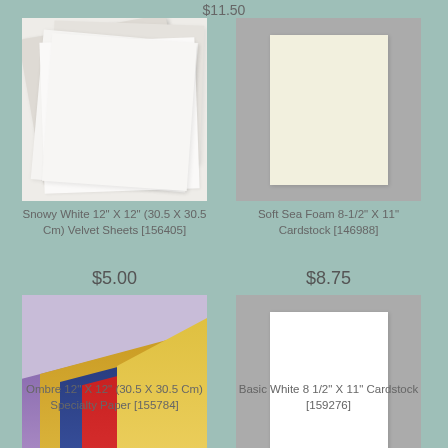$11.50
[Figure (photo): Snowy White 12x12 velvet sheets stacked at angles showing white layered paper]
Snowy White 12" X 12" (30.5 X 30.5 Cm) Velvet Sheets [156405]
$5.00
[Figure (photo): Soft Sea Foam 8-1/2 x 11 cardstock on grey background showing pale cream-green sheet]
Soft Sea Foam 8-1/2" X 11" Cardstock [146988]
$8.75
[Figure (photo): Ombre 12x12 specialty paper showing multiple colorful sheets fanned out in purple, gold, navy, and red]
Ombre 12" X 12" (30.5 X 30.5 Cm) Specialty Paper [155784]
[Figure (photo): Basic White 8-1/2 x 11 cardstock on grey background showing white sheet]
Basic White 8 1/2" X 11" Cardstock [159276]